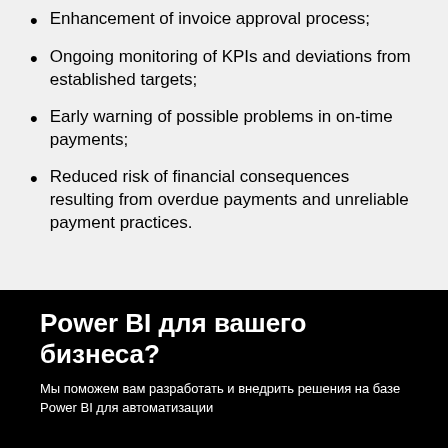Enhancement of invoice approval process;
Ongoing monitoring of KPIs and deviations from established targets;
Early warning of possible problems in on-time payments;
Reduced risk of financial consequences resulting from overdue payments and unreliable payment practices.
Power BI для вашего бизнеса?
Мы поможем вам разработать и внедрить решения на базе Power BI для автоматизации...